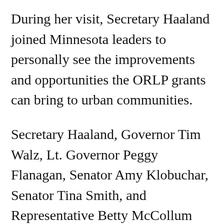During her visit, Secretary Haaland joined Minnesota leaders to personally see the improvements and opportunities the ORLP grants can bring to urban communities.
Secretary Haaland, Governor Tim Walz, Lt. Governor Peggy Flanagan, Senator Amy Klobuchar, Senator Tina Smith, and Representative Betty McCollum visited the recently completed Midway Peace Park in St. Paul that received ORLP funding in 2020.
The secretary also emphasized how the efforts